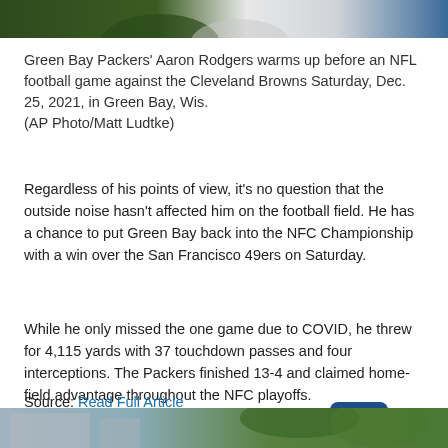[Figure (photo): Top portion of a photo showing Green Bay Packers player (Aaron Rodgers) in green and yellow uniform, cropped at top of page]
Green Bay Packers' Aaron Rodgers warms up before an NFL football game against the Cleveland Browns Saturday, Dec. 25, 2021, in Green Bay, Wis.
(AP Photo/Matt Ludtke)
Regardless of his points of view, it's no question that the outside noise hasn't affected him on the football field. He has a chance to put Green Bay back into the NFC Championship with a win over the San Francisco 49ers on Saturday.
While he only missed the one game due to COVID, he threw for 4,115 yards with 37 touchdown passes and four interceptions. The Packers finished 13-4 and claimed home-field advantage throughout the NFC playoffs.
Source: Read Full Article
[Figure (photo): Bottom portion of a photo showing a person outdoors near trees and a building, cropped at bottom of page]